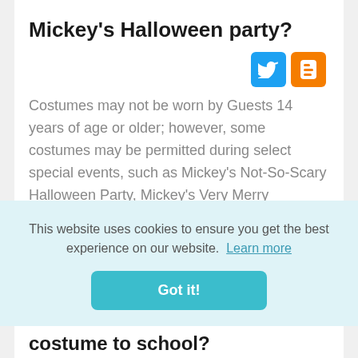Mickey's Halloween party?
[Figure (logo): Twitter and Blogger social media icons]
Costumes may not be worn by Guests 14 years of age or older; however, some costumes may be permitted during select special events, such as Mickey's Not-So-Scary Halloween Party, Mickey's Very Merry Christmas Party and Star Wars: Galactic Nights (special event costume guidelines apply)
This website uses cookies to ensure you get the best experience on our website. Learn more
Got it!
costume to school?